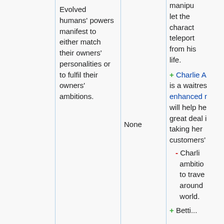|  |  | None |  |
| --- | --- | --- | --- |
|  | Evolved humans' powers manifest to either match their owners' personalities or to fulfil their owners' ambitions. | None | manipu... let the charact... teleport... from his life.
+ Charlie A... is a waitres... enhanced r... will help he... great deal i... taking her customers'...
- Charli... ambitio... to trave... around world.
+ Betti... |